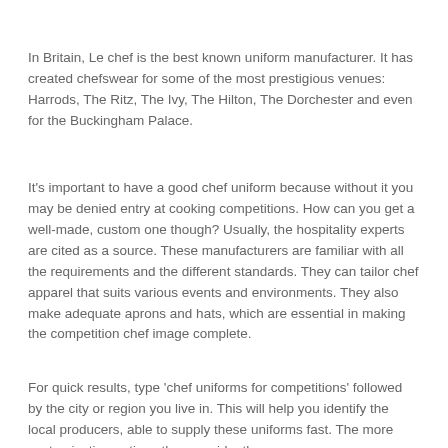In Britain, Le chef is the best known uniform manufacturer. It has created chefswear for some of the most prestigious venues: Harrods, The Ritz, The Ivy, The Hilton, The Dorchester and even for the Buckingham Palace.
It's important to have a good chef uniform because without it you may be denied entry at cooking competitions. How can you get a well-made, custom one though? Usually, the hospitality experts are cited as a source. These manufacturers are familiar with all the requirements and the different standards. They can tailor chef apparel that suits various events and environments. They also make adequate aprons and hats, which are essential in making the competition chef image complete.
For quick results, type 'chef uniforms for competitions' followed by the city or region you live in. This will help you identify the local producers, able to supply these uniforms fast. The more customization options they provide, the